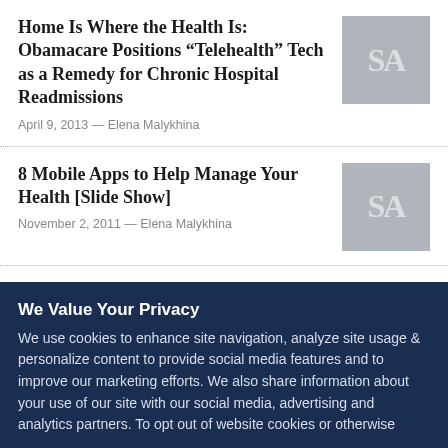Home Is Where the Health Is: Obamacare Positions “Telehealth” Tech as a Remedy for Chronic Hospital Readmissions
April 9, 2013 — Elena Malykhina
[Figure (logo): Scientific American SA logo placeholder thumbnail, gray background]
8 Mobile Apps to Help Manage Your Health [Slide Show]
November 2, 2011 — Elena Malykhina
[Figure (logo): Scientific American SA logo placeholder thumbnail, gray background]
Surviving the Unwired Wild: 6 Mobile Offline Apps Make a Smart Phone an
[Figure (logo): Scientific American SA logo placeholder thumbnail, gray background, partially visible]
We Value Your Privacy
We use cookies to enhance site navigation, analyze site usage & personalize content to provide social media features and to improve our marketing efforts. We also share information about your use of our site with our social media, advertising and analytics partners. To opt out of website cookies or otherwise